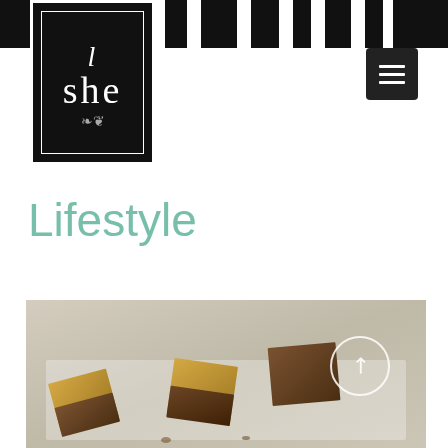[Figure (logo): She lifestyle brand logo — white text 'she' on black background with decorative border and ornament]
[Figure (screenshot): Hamburger menu icon button, dark background with three white horizontal lines]
Lifestyle
[Figure (photo): Close-up photo of chocolate candy squares wrapped in gold foil on white parchment paper, soft focus background]